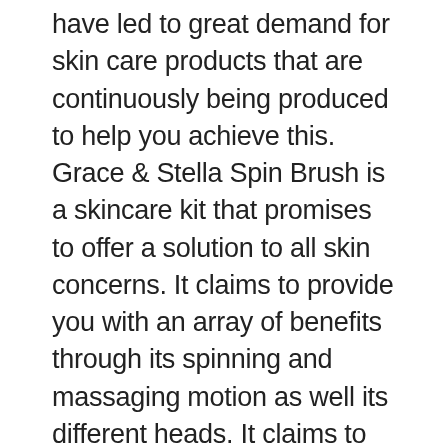have led to great demand for skin care products that are continuously being produced to help you achieve this. Grace & Stella Spin Brush is a skincare kit that promises to offer a solution to all skin concerns. It claims to provide you with an array of benefits through its spinning and massaging motion as well its different heads. It claims to reduce the appearance of aging signs, eliminate the dark spots and acne scarring, remove the makeup instantly, minimize your skin pores, firm your skin, improve your skin's texture among other